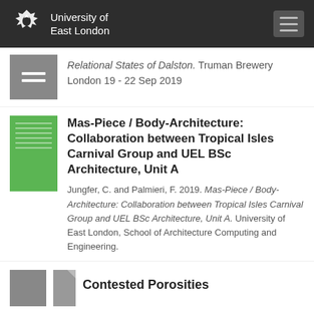University of East London
Relational States of Dalston. Truman Brewery London 19 - 22 Sep 2019
Mas-Piece / Body-Architecture: Collaboration between Tropical Isles Carnival Group and UEL BSc Architecture, Unit A
Jungfer, C. and Palmieri, F. 2019. Mas-Piece / Body-Architecture: Collaboration between Tropical Isles Carnival Group and UEL BSc Architecture, Unit A. University of East London, School of Architecture Computing and Engineering.
Contested Porosities